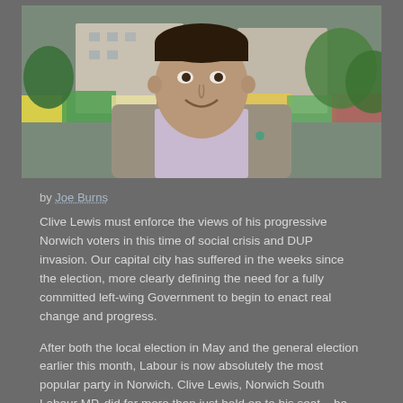[Figure (photo): Portrait photo of a man (Clive Lewis) smiling, wearing a grey blazer and checked shirt, standing outdoors with market stalls and buildings in the background]
by Joe Burns
Clive Lewis must enforce the views of his progressive Norwich voters in this time of social crisis and DUP invasion. Our capital city has suffered in the weeks since the election, more clearly defining the need for a fully committed left-wing Government to begin to enact real change and progress.
After both the local election in May and the general election earlier this month, Labour is now absolutely the most popular party in Norwich. Clive Lewis, Norwich South Labour MP, did far more than just hold on to his seat – he doubled his majority in the constituency with 61 percent of the vote. He blatantly took Green and Liberal